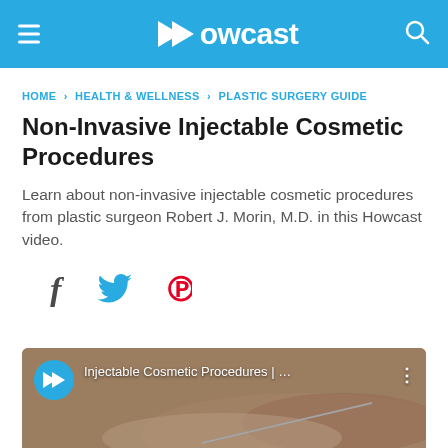Howcast
HOME › HEALTH & WELLNESS › PLASTIC SURGERY GUIDE
Non-Invasive Injectable Cosmetic Procedures
Learn about non-invasive injectable cosmetic procedures from plastic surgeon Robert J. Morin, M.D. in this Howcast video.
[Figure (screenshot): Social sharing icons: Facebook (f), Twitter bird, Pinterest (P)]
[Figure (screenshot): Video thumbnail showing Injectable Cosmetic Procedures with Howcast logo circle and hands holding needle in background]